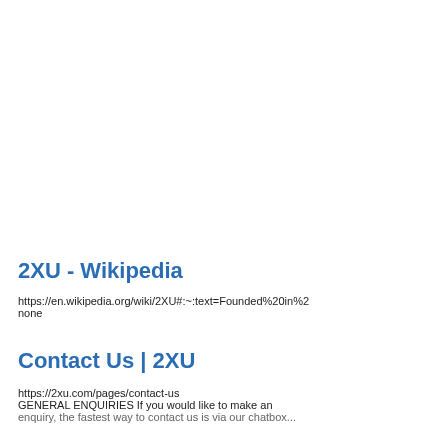2XU - Wikipedia
https://en.wikipedia.org/wiki/2XU#:~:text=Founded%20in%2... none
Contact Us | 2XU
https://2xu.com/pages/contact-us
GENERAL ENQUIRIES If you would like to make an enquiry, the fastest way to contact us is via our chatbox...